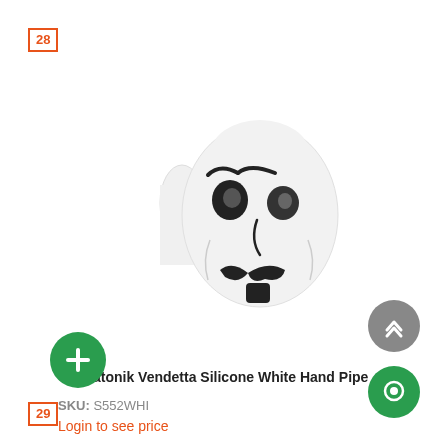28
[Figure (photo): Cannatonik Vendetta Silicone White Hand Pipe shaped like a Guy Fawkes / Anonymous mask, white with black facial features, on white background]
Cannatonik Vendetta Silicone White Hand Pipe
SKU: S552WHI
Login to see price
[Figure (other): Green circular plus/add button]
[Figure (other): Gray circular scroll-to-top button with double chevron up arrow]
[Figure (other): Green circular chat/support button]
29